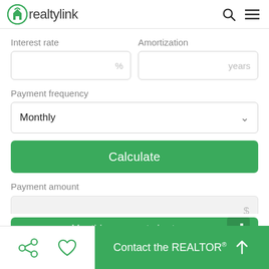realtylink
Interest rate
Amortization
Payment frequency
Monthly
Calculate
Payment amount
Monthly payment chart
Contact the REALTOR®